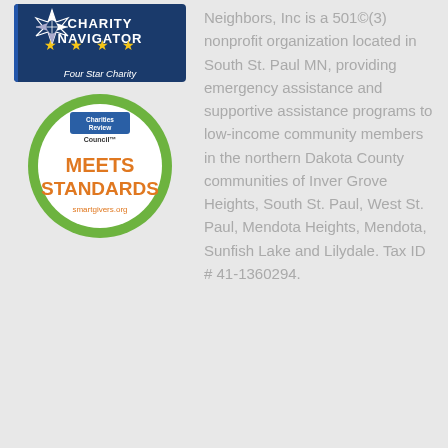[Figure (logo): Charity Navigator Four Star Charity badge - dark blue background with gold stars and white text]
[Figure (logo): Charities Review Council Meets Standards badge - green circle with orange bold text and smartgivers.org URL]
Neighbors, Inc is a 501©(3) nonprofit organization located in South St. Paul MN, providing emergency assistance and supportive assistance programs to low-income community members in the northern Dakota County communities of Inver Grove Heights, South St. Paul, West St. Paul, Mendota Heights, Mendota, Sunfish Lake and Lilydale. Tax ID # 41-1360294.